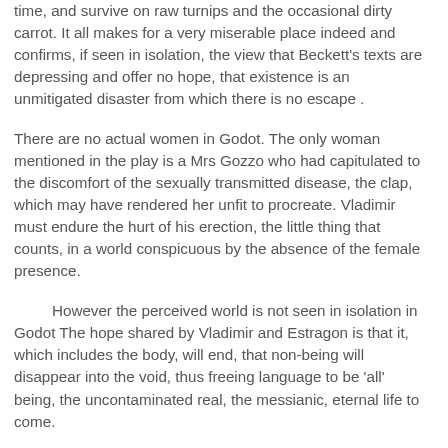time, and survive on raw turnips and the occasional dirty carrot. It all makes for a very miserable place indeed and confirms, if seen in isolation, the view that Beckett's texts are depressing and offer no hope, that existence is an unmitigated disaster from which there is no escape .
There are no actual women in Godot. The only woman mentioned in the play is a Mrs Gozzo who had capitulated to the discomfort of the sexually transmitted disease, the clap, which may have rendered her unfit to procreate. Vladimir must endure the hurt of his erection, the little thing that counts, in a world conspicuous by the absence of the female presence.
However the perceived world is not seen in isolation in Godot The hope shared by Vladimir and Estragon is that it, which includes the body, will end, that non-being will disappear into the void, thus freeing language to be 'all' being, the uncontaminated real, the messianic, eternal life to come.
Great artists strive to present the unpresentable; as Miles